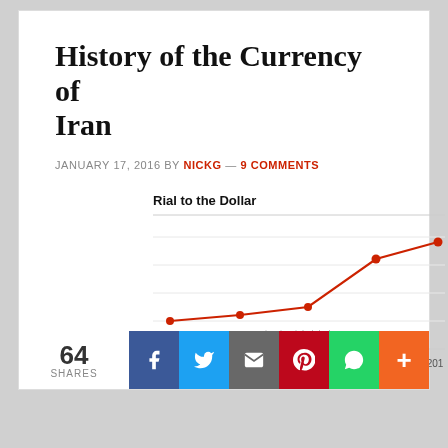History of the Currency of Iran
JANUARY 17, 2016 BY NICKG — 9 COMMENTS
[Figure (line-chart): Line chart showing Iranian Rial to Dollar exchange rate 2010-2014, rising sharply from 2012]
64 SHARES
Social share buttons: Facebook, Twitter, Email, Pinterest, WhatsApp, More